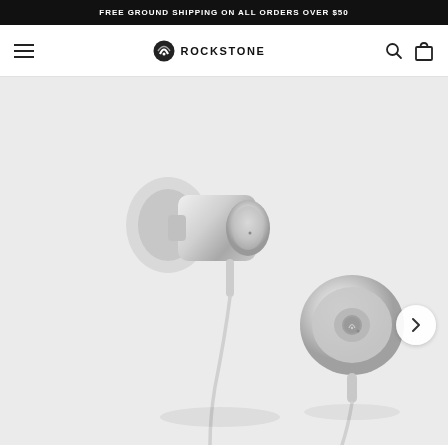FREE GROUND SHIPPING ON ALL ORDERS OVER $50
[Figure (logo): Rockstone brand logo with navigation bar including hamburger menu, search icon, and cart icon]
[Figure (photo): Two silver in-ear earphones/earbuds with metallic housing and white cable on light grey background, shown from front with ear tips visible. A circular next/right arrow navigation button appears on the right side.]